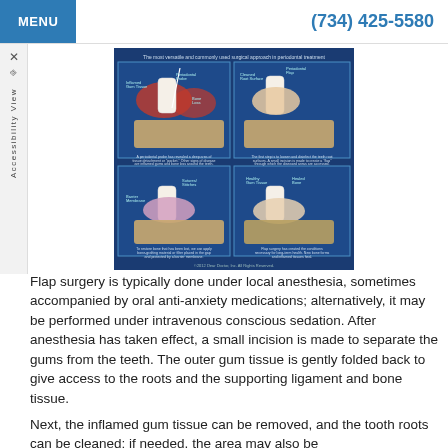MENU | (734) 425-5580
[Figure (illustration): Four-panel periodontal flap surgery diagram showing: top-left: inflamed gum tissue with periodontal probe and bone loss; top-right: cleaned root surface and periodontal flap; bottom-left: barrier membrane placed in bone gap; bottom-right: healthy gum tissue and healed bone after flap surgery. Caption reads: The most versatile and commonly used surgical approach in periodontal treatment. © 2012 Dear Doctor, Inc. All Rights Reserved.]
Flap surgery is typically done under local anesthesia, sometimes accompanied by oral anti-anxiety medications; alternatively, it may be performed under intravenous conscious sedation. After anesthesia has taken effect, a small incision is made to separate the gums from the teeth. The outer gum tissue is gently folded back to give access to the roots and the supporting ligament and bone tissue.
Next, the inflamed gum tissue can be removed, and the tooth roots can be cleaned; if needed, the area may also be